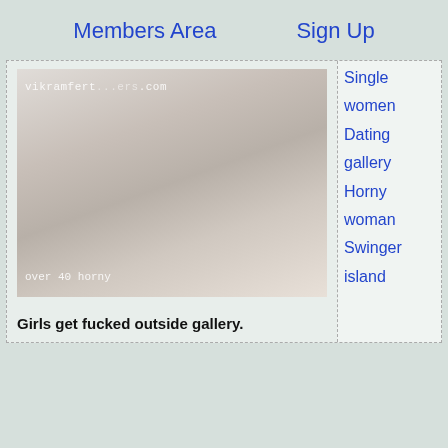Members Area   Sign Up
[Figure (photo): Woman seen from behind wearing white bra strap, with watermark text 'vikramfert...ers.com' and caption 'over 40 horny']
Girls get fucked outside gallery.
Single women Dating gallery Horny woman Swinger island